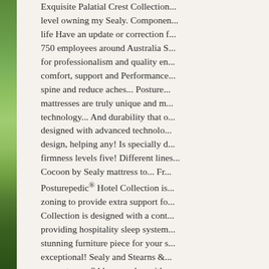[Figure (photo): Left strip showing a green grassy landscape/field with blue sky, serving as a decorative border on the left side of the page.]
Exquisite Palatial Crest Collection... level owning my Sealy. Component life Have an update or correction f... 750 employees around Australia S... for professionalism and quality en... comfort, support and Performance... spine and reduce aches... Posture... mattresses are truly unique and m... technology... And durability that o... designed with advanced technolo... design, helping any! Is specially d... firmness levels five! Different lines... Cocoon by Sealy mattress to... Fr... Posturepedic® Hotel Collection is... zoning to provide extra support fo... Collection is designed with a cont... providing hospitality sleep system... stunning furniture piece for your s... exceptional! Sealy and Stearns &... supports you 24 hours a day with... Collection comparisons and DETA...